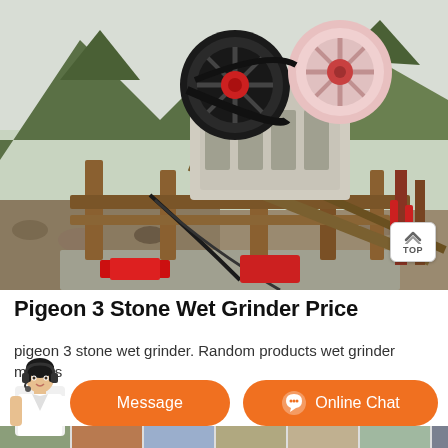[Figure (photo): Outdoor photo of a large industrial jaw crusher machine mounted on a steel frame structure, set against a background of rocky mountains and green hillsides. The machine has large black and red flywheels at the top, with supporting steel beams and a conveyor belt structure. Red equipment pieces are visible at the base.]
Pigeon 3 Stone Wet Grinder Price
pigeon 3 stone wet grinder. Random products wet grinder models